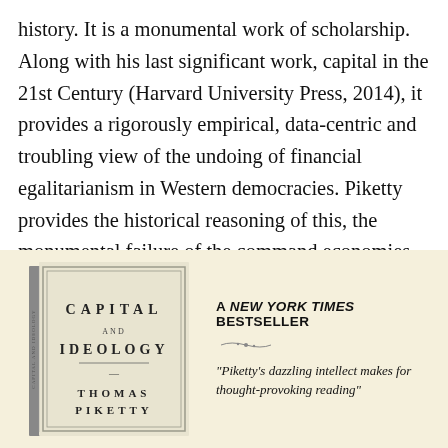history. It is a monumental work of scholarship. Along with his last significant work, capital in the 21st Century (Harvard University Press, 2014), it provides a rigorously empirical, data-centric and troubling view of the undoing of financial egalitarianism in Western democracies. Piketty provides the historical reasoning of this, the monumental failure of the command economies of communism, the weakening of progressive taxations and other policies designed to redistribute wealth (such as inheritance taxes) and the shift in the ideology of egalitarianism to ideologies based on the uncritical embrace of meritocracy.
[Figure (illustration): Book cover of 'Capital and Ideology' by Thomas Piketty alongside a promotional banner stating 'A NEW YORK TIMES BESTSELLER' and a quote: 'Piketty's dazzling intellect makes for thought-provoking reading']